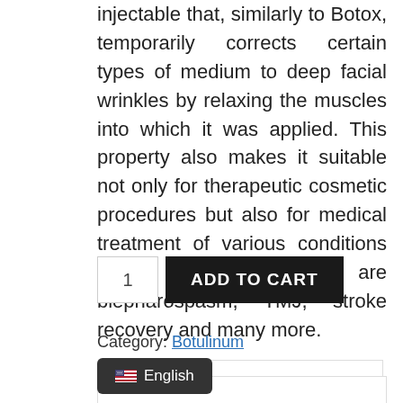injectable that, similarly to Botox, temporarily corrects certain types of medium to deep facial wrinkles by relaxing the muscles into which it was applied. This property also makes it suitable not only for therapeutic cosmetic procedures but also for medical treatment of various conditions among which are blepharospasm, TMJ, stroke recovery and many more.
1  ADD TO CART
Category: Botulinum
Description
[Figure (screenshot): Language selector button showing US flag icon and text 'English' on dark background]